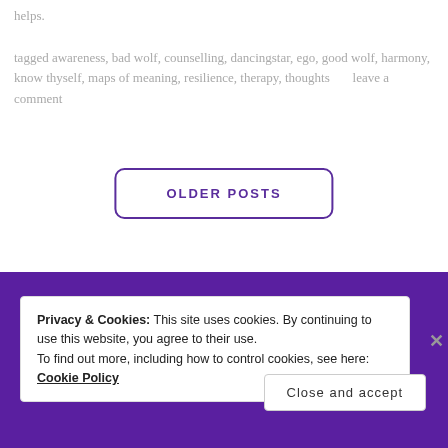helps.
tagged awareness, bad wolf, counselling, dancingstar, ego, good wolf, harmony, know thyself, maps of meaning, resilience, therapy, thoughts      leave a comment
OLDER POSTS
Privacy & Cookies: This site uses cookies. By continuing to use this website, you agree to their use.
To find out more, including how to control cookies, see here: Cookie Policy
Close and accept